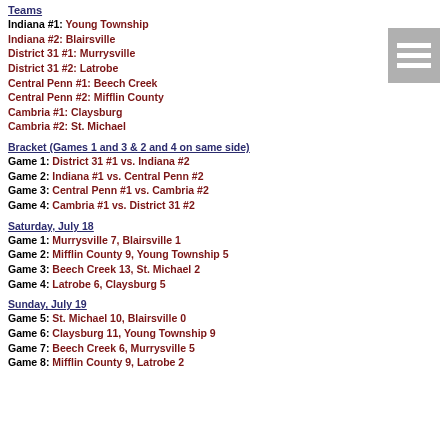Teams
Indiana #1: Young Township
Indiana #2: Blairsville
District 31 #1: Murrysville
District 31 #2: Latrobe
Central Penn #1: Beech Creek
Central Penn #2: Mifflin County
Cambria #1: Claysburg
Cambria #2: St. Michael
Bracket (Games 1 and 3 & 2 and 4 on same side)
Game 1: District 31 #1 vs. Indiana #2
Game 2: Indiana #1 vs. Central Penn #2
Game 3: Central Penn #1 vs. Cambria #2
Game 4: Cambria #1 vs. District 31 #2
Saturday, July 18
Game 1: Murrysville 7, Blairsville 1
Game 2: Mifflin County 9, Young Township 5
Game 3: Beech Creek 13, St. Michael 2
Game 4: Latrobe 6, Claysburg 5
Sunday, July 19
Game 5: St. Michael 10, Blairsville 0
Game 6: Claysburg 11, Young Township 9
Game 7: Beech Creek 6, Murrysville 5
Game 8: Mifflin County 9, Latrobe 2